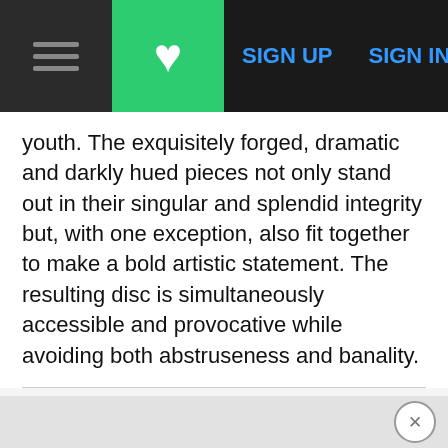SIGN UP   SIGN IN
youth. The exquisitely forged, dramatic and darkly hued pieces not only stand out in their singular and splendid integrity but, with one exception, also fit together to make a bold artistic statement. The resulting disc is simultaneously accessible and provocative while avoiding both abstruseness and banality.
ADVERTISEMENT